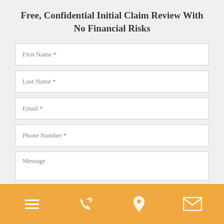Free, Confidential Initial Claim Review With No Financial Risks
First Name *
Last Name *
Email *
Phone Number *
Message